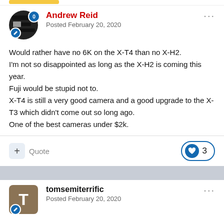[Figure (screenshot): User avatar for Andrew Reid - circular avatar with dark image, rank badge, and blue edit badge]
Andrew Reid
Posted February 20, 2020
Would rather have no 6K on the X-T4 than no X-H2.
I'm not so disappointed as long as the X-H2 is coming this year.
Fuji would be stupid not to.
X-T4 is still a very good camera and a good upgrade to the X-T3 which didn't come out so long ago.
One of the best cameras under $2k.
+ Quote   ♥ 3
[Figure (screenshot): User avatar for tomsemiterrific - brown square avatar with letter T and blue edit badge]
tomsemiterrific
Posted February 20, 2020